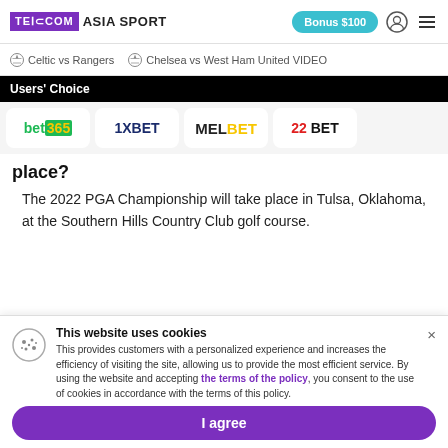TELECOM ASIA SPORT | Bonus $100
Celtic vs Rangers   Chelsea vs West Ham United VIDEO
Users' Choice
[Figure (logo): Bookmakers logos row: bet365, 1XBET, MELBET, 22BET]
place?
The 2022 PGA Championship will take place in Tulsa, Oklahoma, at the Southern Hills Country Club golf course.
This website uses cookies
This provides customers with a personalized experience and increases the efficiency of visiting the site, allowing us to provide the most efficient service. By using the website and accepting the terms of the policy, you consent to the use of cookies in accordance with the terms of this policy.
I agree